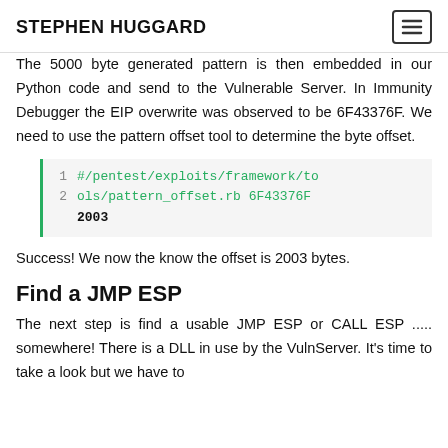STEPHEN HUGGARD
The 5000 byte generated pattern is then embedded in our Python code and send to the Vulnerable Server. In Immunity Debugger the EIP overwrite was observed to be 6F43376F. We need to use the pattern offset tool to determine the byte offset.
#/pentest/exploits/framework/tools/pattern_offset.rb 6F43376F 2003
Success! We now the know the offset is 2003 bytes.
Find a JMP ESP
The next step is find a usable JMP ESP or CALL ESP ..... somewhere! There is a DLL in use by the VulnServer. It's time to take a look but we have to